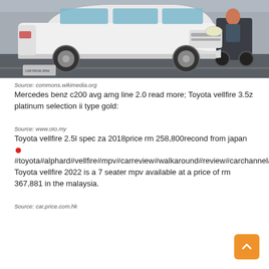[Figure (photo): White Toyota Vellfire/Alphard minivan photographed on a road, lowered suspension, aftermarket wheels, with a motorcycle visible in the background.]
Source: commons.wikimedia.org
Mercedes benz c200 avg amg line 2.0 read more; Toyota vellfire 3.5z platinum selection ii type gold:
Source: www.oto.my
Toyota vellfire 2.5l spec za 2018price rm 258,800recond from japan 🔴 #toyota#alphard#vellfire#mpv#carreview#walkaround#review#carchannel#panduuji#testdrive Toyota vellfire 2022 is a 7 seater mpv available at a price of rm 367,881 in the malaysia.
Source: car.price.com.hk